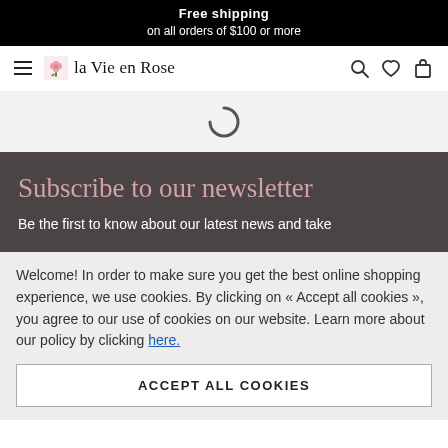Free shipping
on all orders of $100 or more
[Figure (logo): la Vie en Rose logo with hamburger menu, rose icon, and navigation icons (search, heart, bag)]
[Figure (other): Loading spinner (circular arc)]
Subscribe to our newsletter
Be the first to know about our latest news and take
Welcome! In order to make sure you get the best online shopping experience, we use cookies. By clicking on « Accept all cookies », you agree to our use of cookies on our website. Learn more about our policy by clicking here.
ACCEPT ALL COOKIES